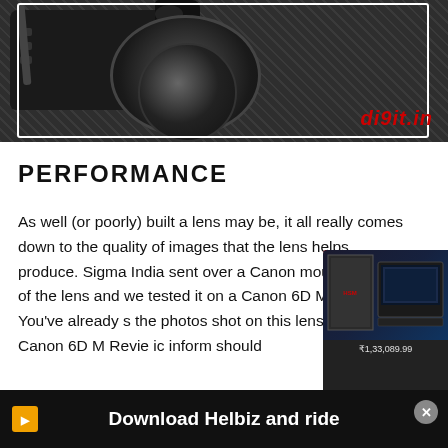[Figure (photo): Top-down view of a DSLR camera with lens on a dark textured surface, with watermark 'di9it.in' in red italic text at bottom right]
PERFORMANCE
As well (or poorly) built a lens may be, it all really comes down to the quality of images that the lens helps produce. Sigma India sent over a Canon mount version of the lens and we tested it on a Canon 6D MarkII. You've already seen the photos shot on this lens in our Canon 6D MarkII Review. Here's some more specific information that should
[Figure (screenshot): Product advertisement overlay showing a laptop product box with price ₹1,33,089.99]
[Figure (screenshot): Bottom ad banner: 'Download Helbiz and ride' on dark background with close button X]